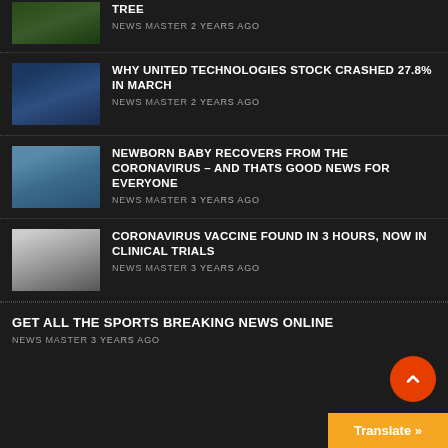[Figure (photo): Partial view of tree/nature thumbnail at top]
TREE
NEWS MASTER 2 YEARS AGO
[Figure (photo): Airplane interior seats with window]
WHY UNITED TECHNOLOGIES STOCK CRASHED 27.8% IN MARCH
NEWS MASTER 2 YEARS AGO
[Figure (photo): Newborn baby in hospital setting]
NEWBORN BABY RECOVERS FROM THE CORONAVIRUS – AND THATS GOOD NEWS FOR EVERYONE
NEWS MASTER 3 YEARS AGO
[Figure (photo): Lab researcher in white coat]
CORONAVIRUS VACCINE FOUND IN 3 HOURS, NOW IN CLINICAL TRIALS
NEWS MASTER 3 YEARS AGO
GET ALL THE SPORTS BREAKING NEWS ONLINE
NEWS MASTER 3 YEARS AGO